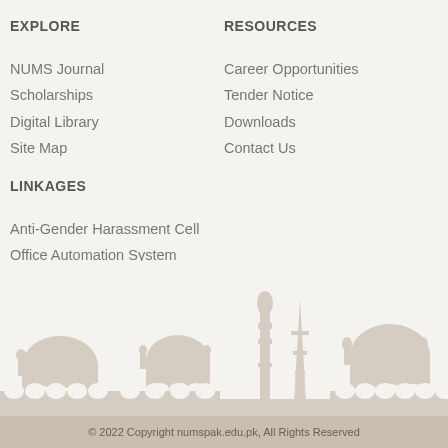EXPLORE
NUMS Journal
Scholarships
Digital Library
Site Map
RESOURCES
Career Opportunities
Tender Notice
Downloads
Contact Us
LINKAGES
Anti-Gender Harassment Cell
Office Automation System
eLearning (BS Programs)
Distance Learning(Certificate Courses)
[Figure (illustration): Silhouette skyline of Pakistani mosques, minarets and monuments in light beige/tan color against a slightly lighter background]
© 2022 Copyright numspak.edu.pk, All Rights Reserved